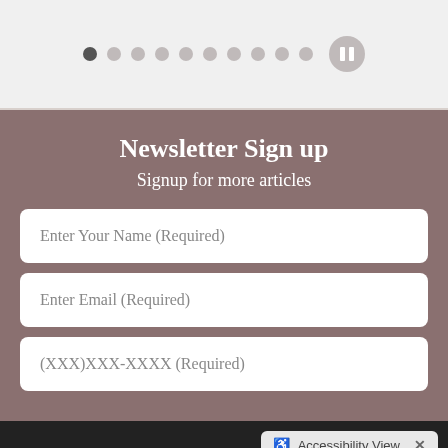[Figure (other): Slideshow navigation dots row with 10 small dots and a pause button circle on the right]
Newsletter Sign up
Signup for more articles
Enter Your Name (Required)
Enter Email (Required)
(XXX)XXX-XXXX (Required)
Accessibility View